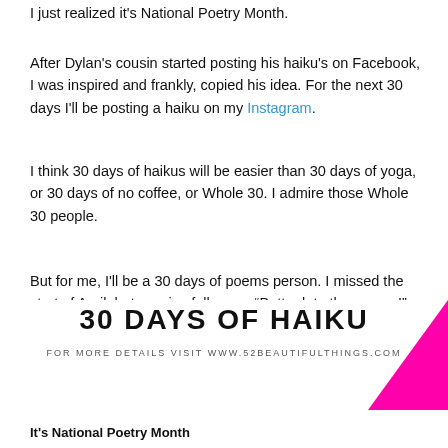I just realized it's National Poetry Month.
After Dylan's cousin started posting his haiku's on Facebook, I was inspired and frankly, copied his idea. For the next 30 days I'll be posting a haiku on my Instagram.
I think 30 days of haikus will be easier than 30 days of yoga, or 30 days of no coffee, or Whole 30. I admire those Whole 30 people.
But for me, I'll be a 30 days of poems person. I missed the start of April, but as wise folks say, “Better late than never!”
I'm extending an invitation for you to play along.
[Figure (infographic): Banner reading '30 DAYS OF HAIKU' with subtitle 'FOR MORE DETAILS VISIT WWW.52BEAUTIFULTHINGS.COM' and a pink triangle in the top right corner.]
It's National Poetry Month